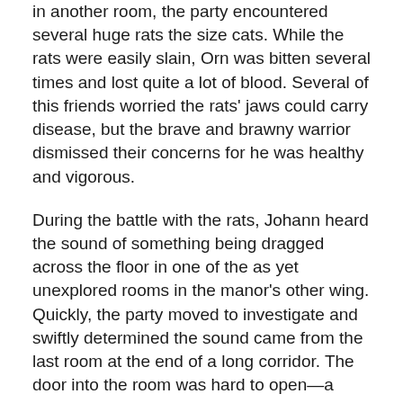in another room, the party encountered several huge rats the size cats. While the rats were easily slain, Orn was bitten several times and lost quite a lot of blood. Several of this friends worried the rats' jaws could carry disease, but the brave and brawny warrior dismissed their concerns for he was healthy and vigorous.
During the battle with the rats, Johann heard the sound of something being dragged across the floor in one of the as yet unexplored rooms in the manor's other wing. Quickly, the party moved to investigate and swiftly determined the sound came from the last room at the end of a long corridor. The door into the room was hard to open—a barricade beyond slowed the party but when they eventually got through the door they were in for a surprise!
In the chamber, standing at bay in one corner amid the remains of his camp, stood a bald, scar-faced warrior they had met before. This was Ilmari Eronen—who they had encountered before with this group in the Scarlet Fellowship in...